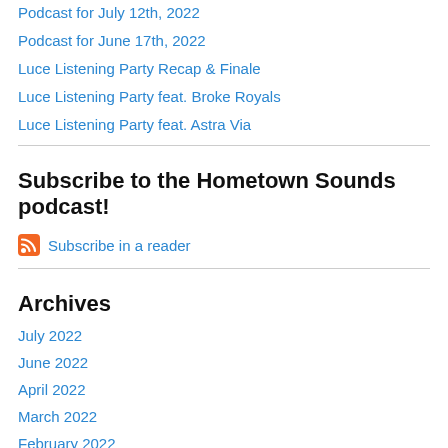Podcast for July 12th, 2022
Podcast for June 17th, 2022
Luce Listening Party Recap & Finale
Luce Listening Party feat. Broke Royals
Luce Listening Party feat. Astra Via
Subscribe to the Hometown Sounds podcast!
Subscribe in a reader
Archives
July 2022
June 2022
April 2022
March 2022
February 2022
January 2022